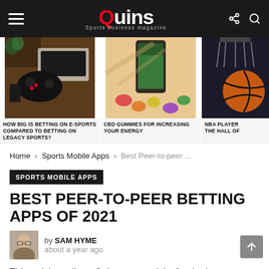Quins Sports business magazine
[Figure (photo): Three carousel images: gaming controller with laptop, CBD gummies on colorful background, basketball hoop]
HOW BIG IS BETTING ON E-SPORTS COMPARED TO BETTING ON LEGACY SPORTS?
CBD GUMMIES FOR INCREASING YOUR ENERGY
NBA PLAYER THE HALL OF
Home › Sports Mobile Apps › Best Peer-to-peer ...
SPORTS MOBILE APPS
BEST PEER-TO-PEER BETTING APPS OF 2021
by SAM HYME
about a year ago
This article outlines Quins.us top picks for the best